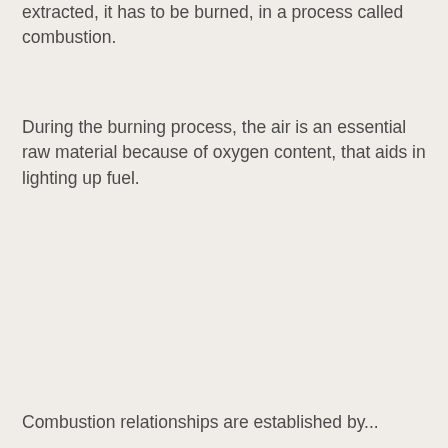extracted, it has to be burned, in a process called combustion.
During the burning process, the air is an essential raw material because of oxygen content, that aids in lighting up fuel.
Combustion relationships are established by...